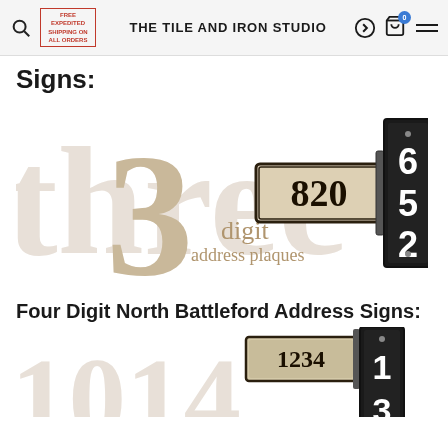FREE EXPEDITED SHIPPING ON ALL ORDERS | THE TILE AND IRON STUDIO
Signs:
[Figure (photo): 3 digit address plaques product image showing a horizontal plaque with 820 and a vertical black plaque with 652, with a large decorative background showing the number 3 and text 'three digit address plaques']
Four Digit North Battleford Address Signs:
[Figure (photo): 4 digit address signs product image showing a horizontal plaque with 1234 and a vertical black plaque with 13, with large decorative background numbers]